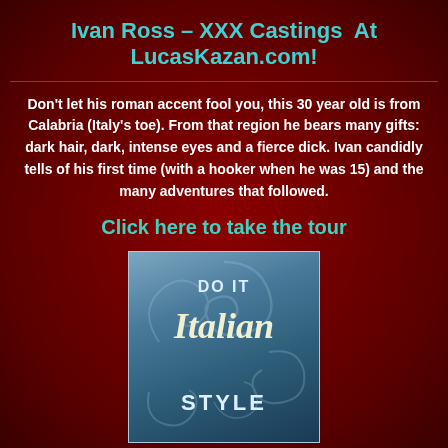Ivan Ross – XXX Castings  At LucasKazan.com!
Don't let his roman accent fool you, this 30 year old is from Calabria (Italy's toe). From that region he bears many gifts: dark hair, dark, intense eyes and a fierce dick. Ivan candidly tells of his first time (with a hooker when he was 15) and the many adventures that followed.
Click here to take the tour
[Figure (illustration): A poster-style image with a blue-grey gradient background with decorative swirl patterns. Text reads 'DO IT' at the top, 'Italian' in large italic script in the middle, and 'STYLE' in bold capital letters at the bottom.]